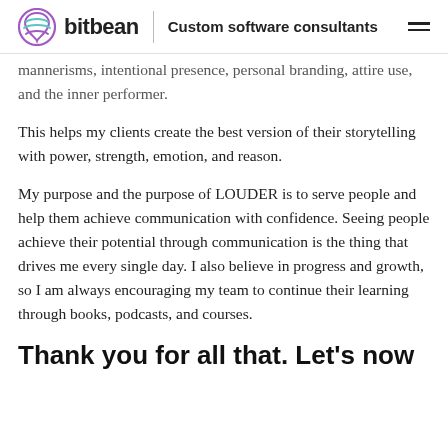bitbean | Custom software consultants
mannerisms, intentional presence, personal branding, attire use, and the inner performer.
This helps my clients create the best version of their storytelling with power, strength, emotion, and reason.
My purpose and the purpose of LOUDER is to serve people and help them achieve communication with confidence. Seeing people achieve their potential through communication is the thing that drives me every single day. I also believe in progress and growth, so I am always encouraging my team to continue their learning through books, podcasts, and courses.
Thank you for all that. Let's now